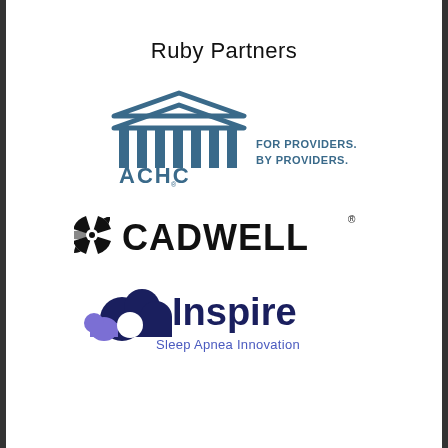Ruby Partners
[Figure (logo): ACHC logo — building/pillars icon in steel blue with text 'ACHC' below, and 'FOR PROVIDERS. BY PROVIDERS.' to the right in blue]
[Figure (logo): Cadwell logo — black pinwheel icon followed by bold black text 'CADWELL' with registered trademark symbol]
[Figure (logo): Inspire Sleep Apnea Innovation logo — dark navy cloud/moon icon with purple accent shape, bold navy 'Inspire' text, and subtitle 'Sleep Apnea Innovation' in blue]